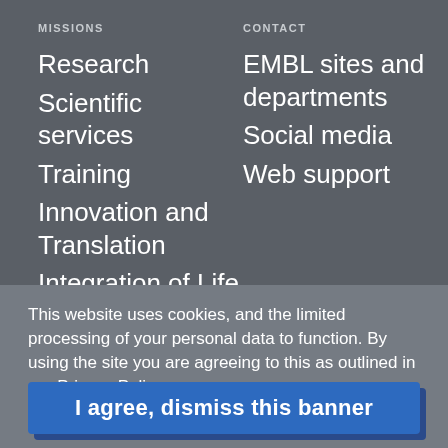MISSIONS
Research
Scientific services
Training
Innovation and Translation
Integration of Life
CONTACT
EMBL sites and departments
Social media
Web support
This website uses cookies, and the limited processing of your personal data to function. By using the site you are agreeing to this as outlined in our Privacy Policy.
I agree, dismiss this banner